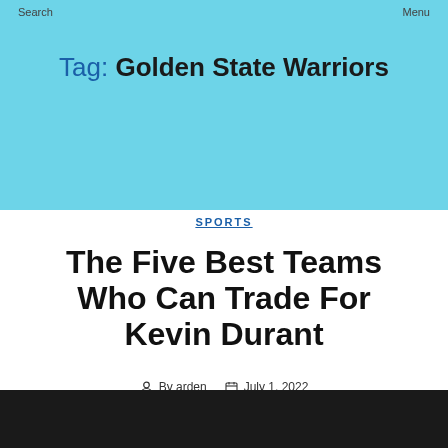Search    Menu
Tag: Golden State Warriors
SPORTS
The Five Best Teams Who Can Trade For Kevin Durant
By arden   July 1, 2022
[Figure (photo): Dark image bar at bottom of page]